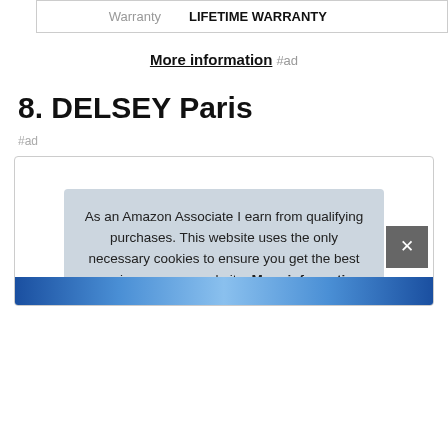| Warranty | LIFETIME WARRANTY |
More information #ad
8. DELSEY Paris
#ad
As an Amazon Associate I earn from qualifying purchases. This website uses the only necessary cookies to ensure you get the best experience on our website. More information